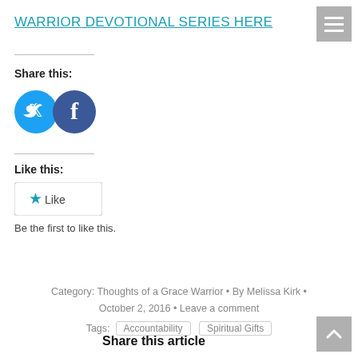WARRIOR DEVOTIONAL SERIES HERE
Share this:
[Figure (illustration): Twitter and Facebook social share circular icon buttons in teal/blue]
Like this:
[Figure (illustration): Like button with teal star icon]
Be the first to like this.
Category: Thoughts of a Grace Warrior • By Melissa Kirk • October 2, 2016 • Leave a comment
Tags: Accountability Spiritual Gifts
Share this article